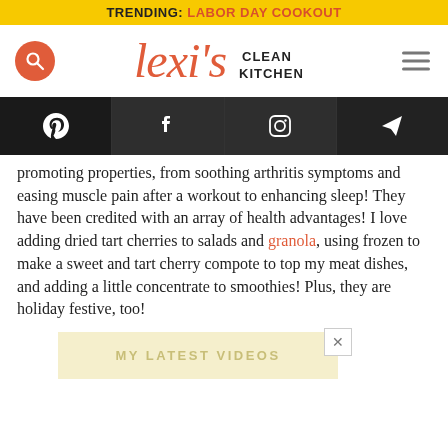TRENDING: LABOR DAY COOKOUT
[Figure (logo): Lexi's Clean Kitchen logo with search icon and hamburger menu]
[Figure (infographic): Social media icon bar: Pinterest, Facebook, Instagram, Email/send]
promoting properties, from soothing arthritis symptoms and easing muscle pain after a workout to enhancing sleep! They have been credited with an array of health advantages! I love adding dried tart cherries to salads and granola, using frozen to make a sweet and tart cherry compote to top my meat dishes, and adding a little concentrate to smoothies! Plus, they are holiday festive, too!
MY LATEST VIDEOS